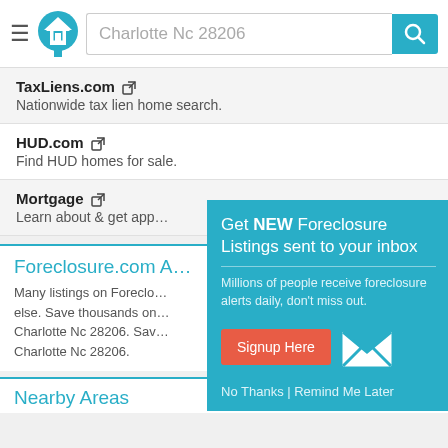Charlotte Nc 28206
TaxLiens.com — Nationwide tax lien home search.
HUD.com — Find HUD homes for sale.
Mortgage — Learn about & get app...
Foreclosure.com A — Many listings on Foreclo... else. Save thousands on... Charlotte Nc 28206. Sav... Charlotte Nc 28206.
[Figure (screenshot): Popup overlay: Get NEW Foreclosure Listings sent to your inbox. Millions of people receive foreclosure alerts daily, don't miss out. Signup Here button. No Thanks | Remind Me Later.]
Nearby Areas